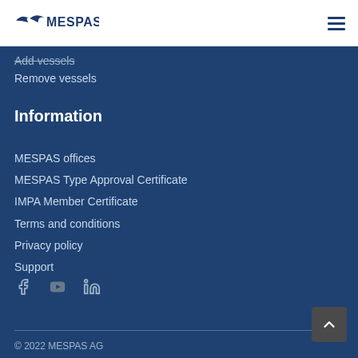MESPAS
Add vessels
Remove vessels
Information
MESPAS offices
MESPAS Type Approval Certificate
IMPA Member Certificate
Terms and conditions
Privacy policy
Support
[Figure (other): Social media icons: Facebook, YouTube, LinkedIn]
© 2022 MESPAS AG